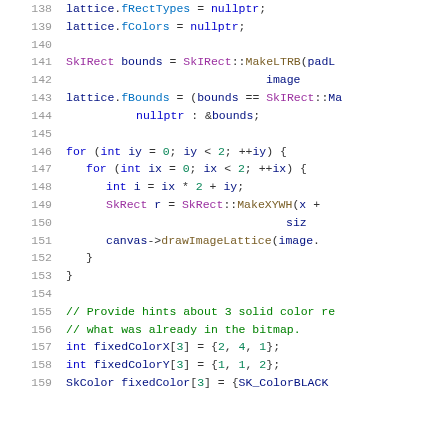[Figure (screenshot): Source code snippet lines 138-159 showing C++ code for lattice drawing with SkIRect bounds, for loops calling drawImageLattice, and fixedColor arrays.]